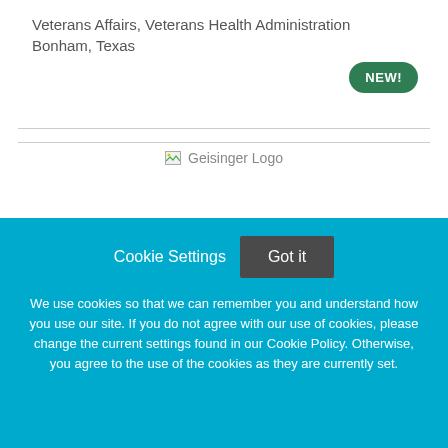Veterans Affairs, Veterans Health Administration
Bonham, Texas
[Figure (logo): Geisinger Logo placeholder image]
Inpatient RN - Oncology 5 - Henry Cancer Center- Up
Cookie Settings  Got it

We use cookies so that we can remember you and understand how you use our site. If you do not agree with our use of cookies, please change the current settings found in our Cookie Policy. Otherwise, you agree to the use of the cookies as they are currently set.